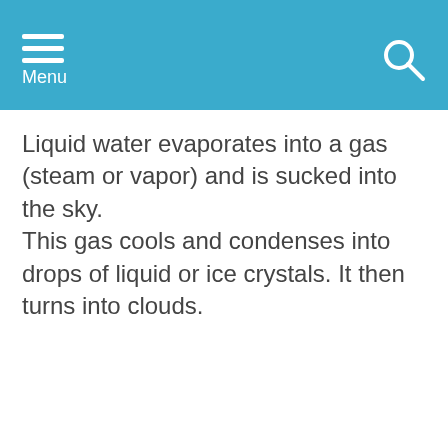Menu
Liquid water evaporates into a gas (steam or vapor) and is sucked into the sky. This gas cools and condenses into drops of liquid or ice crystals. It then turns into clouds.